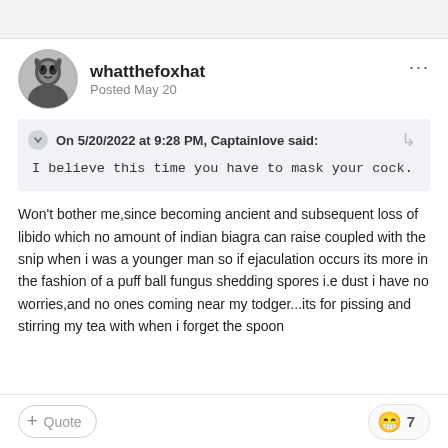whatthefoxhat
Posted May 20
On 5/20/2022 at 9:28 PM, Captainlove said:
I believe this time you have to mask your cock.
Won't bother me,since becoming ancient and subsequent loss of libido which no amount of indian biagra can raise coupled with the snip when i was a younger man so if ejaculation occurs its more in the fashion of a puff ball fungus shedding spores i.e dust i have no worries,and no ones coming near my todger...its for pissing and stirring my tea with when i forget the spoon
+ Quote   😁 7